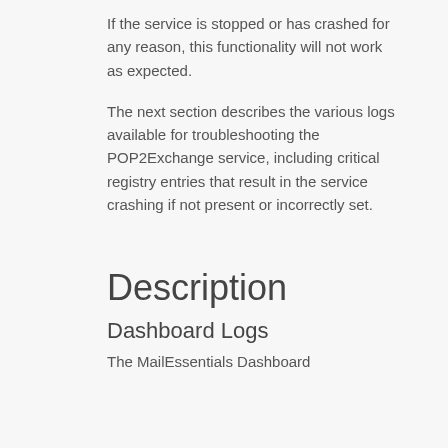If the service is stopped or has crashed for any reason, this functionality will not work as expected.
The next section describes the various logs available for troubleshooting the POP2Exchange service, including critical registry entries that result in the service crashing if not present or incorrectly set.
Description
Dashboard Logs
The MailEssentials Dashboard...